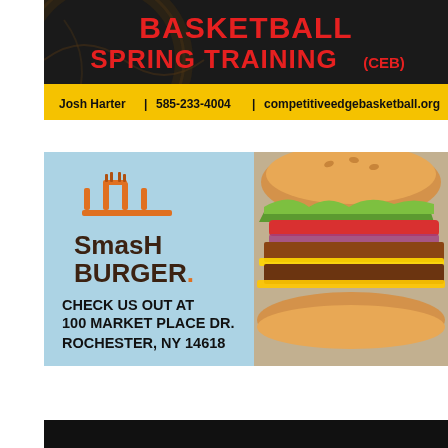[Figure (infographic): Basketball Spring Training (CEB) advertisement with dark background. Red bold text reads BASKETBALL SPRING TRAINING (CEB). Contact info: Josh Harter | 585-233-4004 | competitiveedgebasketball.org]
[Figure (infographic): Smashburger advertisement with light blue background and burger photo on right. Shows Smashburger logo and text: CHECK US OUT AT 100 MARKET PLACE DR. ROCHESTER, NY 14618]
[Figure (other): Dark bar at bottom, partial advertisement beginning]